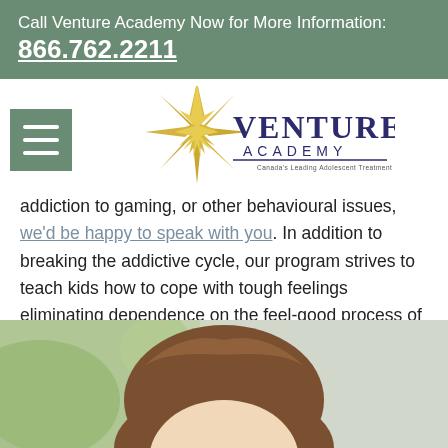Call Venture Academy Now for More Information: 866.762.2211
[Figure (logo): Venture Academy logo with gold starburst and dark blue text reading VENTURE ACADEMY, Canada's Leading Adolescent Treatment Centres]
addiction to gaming, or other behavioural issues, we'd be happy to speak with you. In addition to breaking the addictive cycle, our program strives to teach kids how to cope with tough feelings eliminating dependence on the feel-good process of gaming and connecting online.
[Figure (photo): Photo of a young woman with brown hair, blurred green background, cropped to show face and top of head]